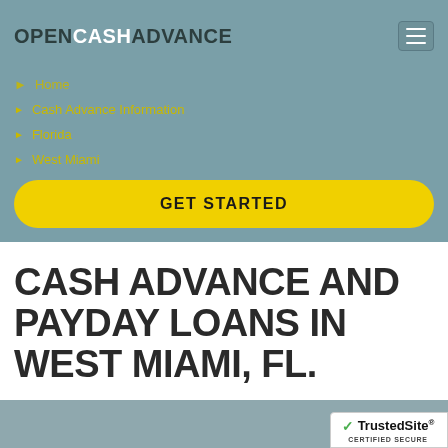OPENCASHADVANCE
Home
Cash Advance Information
Florida
West Miami
GET STARTED
CASH ADVANCE AND PAYDAY LOANS IN WEST MIAMI, FL.
[Figure (logo): TrustedSite Certified Secure badge]